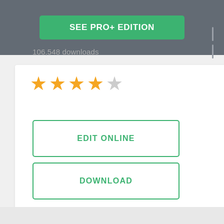SEE PRO+ EDITION
106,548 downloads
[Figure (illustration): Star rating display showing 4 out of 5 gold stars, with one gray star]
EDIT ONLINE
DOWNLOAD